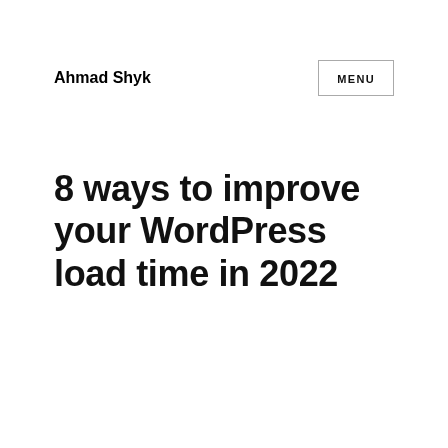Ahmad Shyk
8 ways to improve your WordPress load time in 2022